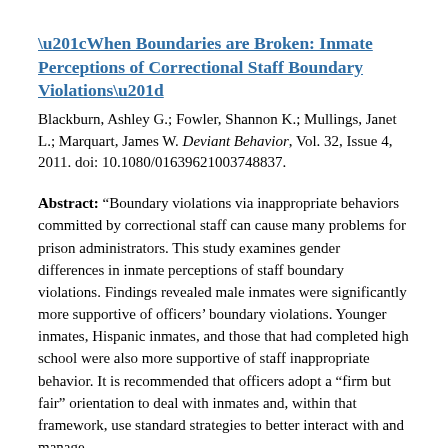“When Boundaries are Broken: Inmate Perceptions of Correctional Staff Boundary Violations”
Blackburn, Ashley G.; Fowler, Shannon K.; Mullings, Janet L.; Marquart, James W. Deviant Behavior, Vol. 32, Issue 4, 2011. doi: 10.1080/01639621003748837.
Abstract: “Boundary violations via inappropriate behaviors committed by correctional staff can cause many problems for prison administrators. This study examines gender differences in inmate perceptions of staff boundary violations. Findings revealed male inmates were significantly more supportive of officers’ boundary violations. Younger inmates, Hispanic inmates, and those that had completed high school were also more supportive of staff inappropriate behavior. It is recommended that officers adopt a “firm but fair” orientation to deal with inmates and, within that framework, use standard strategies to better interact with and manage inmates.